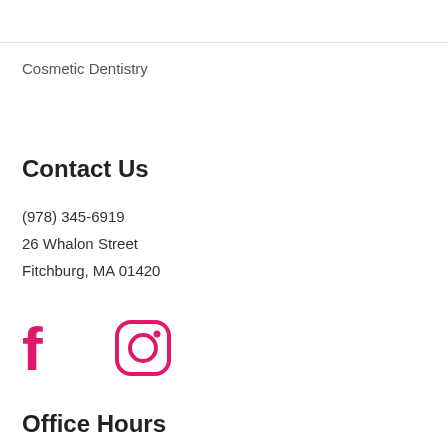Cosmetic Dentistry
Contact Us
(978) 345-6919
26 Whalon Street
Fitchburg, MA 01420
[Figure (illustration): Facebook and Instagram social media icons in pink/magenta color]
Office Hours